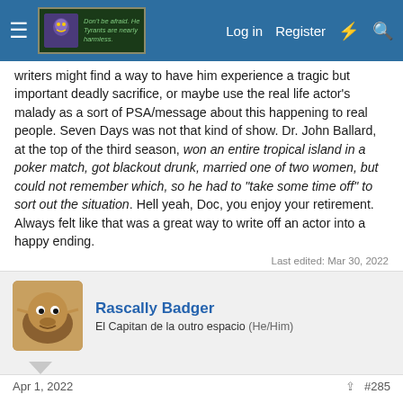Navigation bar with hamburger menu, banner image, Log in, Register, and search icons
writers might find a way to have him experience a tragic but important deadly sacrifice, or maybe use the real life actor's malady as a sort of PSA/message about this happening to real people. Seven Days was not that kind of show. Dr. John Ballard, at the top of the third season, won an entire tropical island in a poker match, got blackout drunk, married one of two women, but could not remember which, so he had to "take some time off" to sort out the situation. Hell yeah, Doc, you enjoy your retirement. Always felt like that was a great way to write off an actor into a happy ending.
Last edited: Mar 30, 2022
Rascally Badger
El Capitan de la outro espacio (He/Him)
Apr 1, 2022  #285
I've decided to watch all these 'ripped from the headlines' mini-